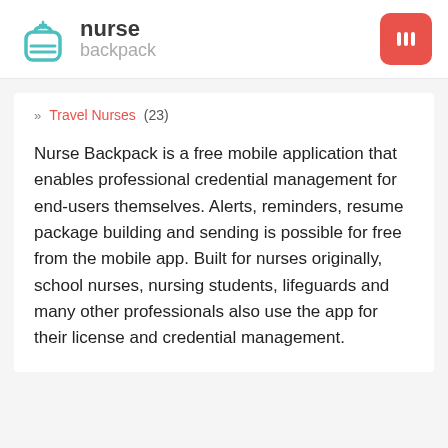[Figure (logo): Nurse Backpack logo: teal backpack icon on the left, bold text 'nurse' in dark gray and lighter gray 'backpack' on the right]
[Figure (other): Red/coral rounded square button with three vertical bar lines (hamburger/menu icon) in white]
» Travel Nurses (23)
Nurse Backpack is a free mobile application that enables professional credential management for end-users themselves. Alerts, reminders, resume package building and sending is possible for free from the mobile app. Built for nurses originally, school nurses, nursing students, lifeguards and many other professionals also use the app for their license and credential management.